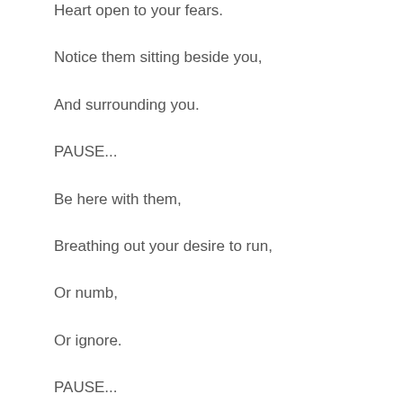Heart open to your fears.
Notice them sitting beside you,
And surrounding you.
PAUSE...
Be here with them,
Breathing out your desire to run,
Or numb,
Or ignore.
PAUSE...
Be here with your fears,